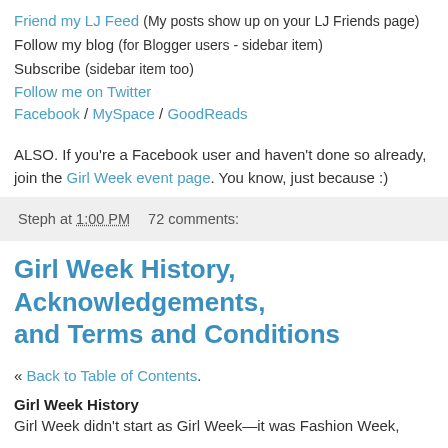Friend my LJ Feed (My posts show up on your LJ Friends page)
Follow my blog (for Blogger users - sidebar item)
Subscribe (sidebar item too)
Follow me on Twitter
Facebook / MySpace / GoodReads
ALSO. If you're a Facebook user and haven't done so already, join the Girl Week event page. You know, just because :)
Steph at 1:00 PM    72 comments:
Girl Week History, Acknowledgements, and Terms and Conditions
« Back to Table of Contents.
Girl Week History
Girl Week didn't start as Girl Week—it was Fashion Week,